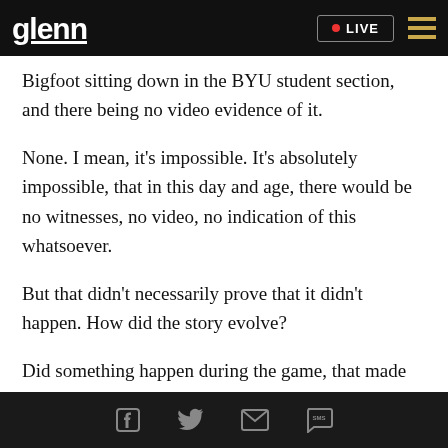glenn | LIVE
Bigfoot sitting down in the BYU student section, and there being no video evidence of it.
None. I mean, it's impossible. It's absolutely impossible, that in this day and age, there would be no witnesses, no video, no indication of this whatsoever.
But that didn't necessarily prove that it didn't happen. How did the story evolve?
Did something happen during the game, that made
social share icons: Facebook, Twitter, Email, SMS